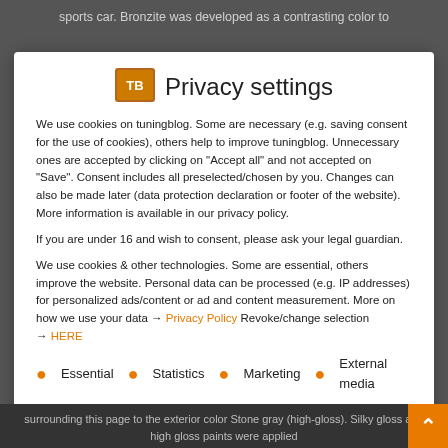sports car. Bronzite was developed as a contrasting color to
Privacy settings
We use cookies on tuningblog. Some are necessary (e.g. saving consent for the use of cookies), others help to improve tuningblog. Unnecessary ones are accepted by clicking on "Accept all" and not accepted on "Save". Consent includes all preselected/chosen by you. Changes can also be made later (data protection declaration or footer of the website). More information is available in our privacy policy.
If you are under 16 and wish to consent, please ask your legal guardian.
We use cookies & other technologies. Some are essential, others improve the website. Personal data can be processed (e.g. IP addresses) for personalized ads/content or ad and content measurement. More on how we use your data → Privacy Policy Revoke/change selection → HERE
Essential
Statistics
Marketing
External media
That's okay
only essential
surrounding this page to the exterior color Stone gray (high-gloss). Silky gloss and high gloss paints were applied